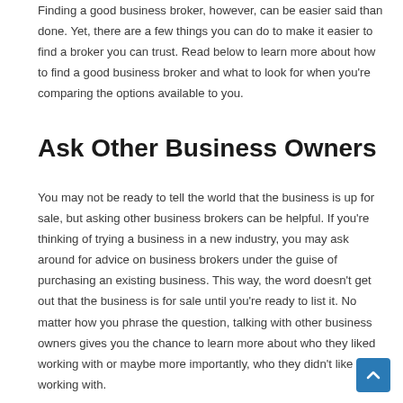Finding a good business broker, however, can be easier said than done. Yet, there are a few things you can do to make it easier to find a broker you can trust. Read below to learn more about how to find a good business broker and what to look for when you're comparing the options available to you.
Ask Other Business Owners
You may not be ready to tell the world that the business is up for sale, but asking other business brokers can be helpful. If you're thinking of trying a business in a new industry, you may ask around for advice on business brokers under the guise of purchasing an existing business. This way, the word doesn't get out that the business is for sale until you're ready to list it. No matter how you phrase the question, talking with other business owners gives you the chance to learn more about who they liked working with or maybe more importantly, who they didn't like working with.